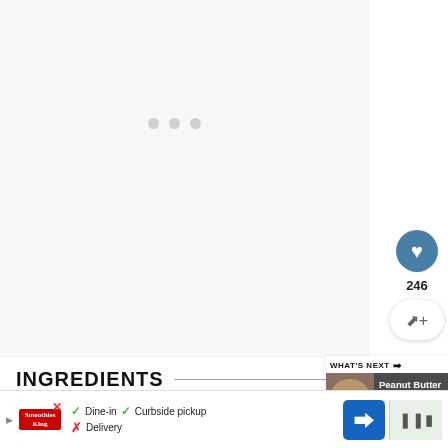[Figure (screenshot): Loading placeholder area with three grey dots indicating content loading]
INGREDIENTS
FOR THE SALAD
[Figure (screenshot): What's Next panel showing Peanut Butter Blossoms recipe card with image and progress bar]
[Figure (screenshot): Advertisement bar: Smoothies King ad with Dine-in checkmark, Curbside pickup checkmark, Delivery cross, navigation arrow and mute button]